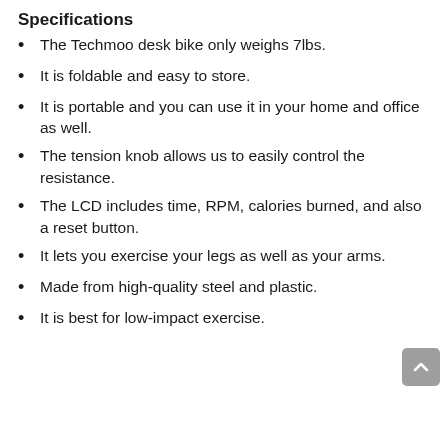Specifications
The Techmoo desk bike only weighs 7lbs.
It is foldable and easy to store.
It is portable and you can use it in your home and office as well.
The tension knob allows us to easily control the resistance.
The LCD includes time, RPM, calories burned, and also a reset button.
It lets you exercise your legs as well as your arms.
Made from high-quality steel and plastic.
It is best for low-impact exercise.